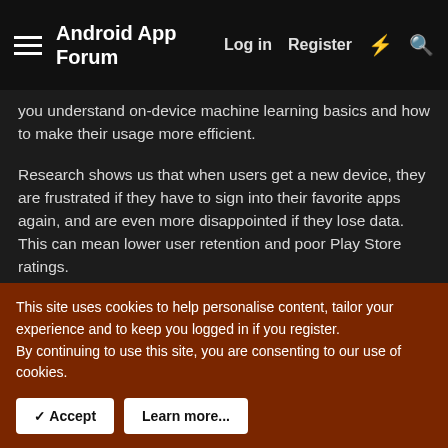Android App Forum | Log in | Register
you understand on-device machine learning basics and how to make their usage more efficient.
Research shows us that when users get a new device, they are frustrated if they have to sign into their favorite apps again, and are even more disappointed if they lose data. This can mean lower user retention and poor Play Store ratings.
In this talk, Martin Millmore, engineering manager, and Ruslan Tkhakokhov, software engineer, explored the benefits of transferring users' data to a new device, using Backup and Restore to achieve that in a simple and secure way. They also
This site uses cookies to help personalise content, tailor your experience and to keep you logged in if you register.
By continuing to use this site, you are consenting to our use of cookies.